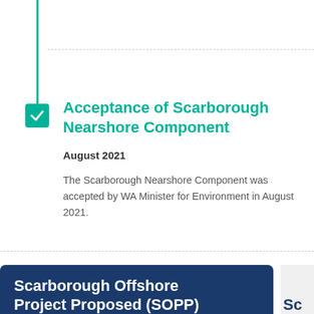Acceptance of Scarborough Nearshore Component
August 2021
The Scarborough Nearshore Component was accepted by WA Minister for Environment in August 2021.
Scarborough Offshore Project Proposed (SOPP)